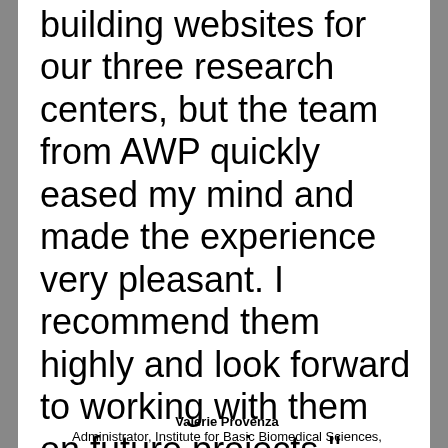building websites for our three research centers, but the team from AWP quickly eased my mind and made the experience very pleasant. I recommend them highly and look forward to working with them on future projects."
Valerie Provenza
Administrator, Institute for Basic Biomedical Sciences,